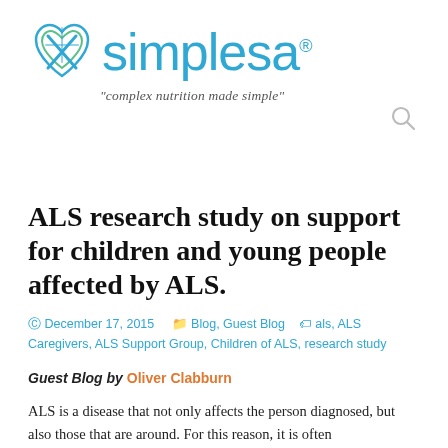[Figure (logo): Simplesa logo with heart/cross icon and blue text reading 'simplesa®', tagline: "complex nutrition made simple"]
ALS research study on support for children and young people affected by ALS.
December 17, 2015   Blog, Guest Blog   als, ALS Caregivers, ALS Support Group, Children of ALS, research study
Guest Blog by Oliver Clabburn
ALS is a disease that not only affects the person diagnosed, but also those that are around. For this reason, it is often